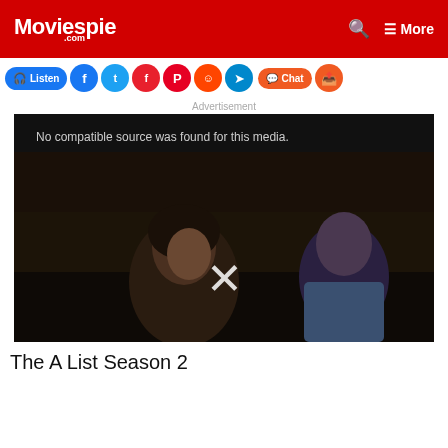Moviespie.com — More
[Figure (screenshot): Social sharing bar with Listen, Facebook, Twitter, Flipboard, Pinterest, Reddit, Telegram, Chat, and Share buttons]
Advertisement
[Figure (screenshot): Video player showing error message 'No compatible source was found for this media.' over a dark still image of a woman watching a movie, with an X symbol overlay]
The A List Season 2